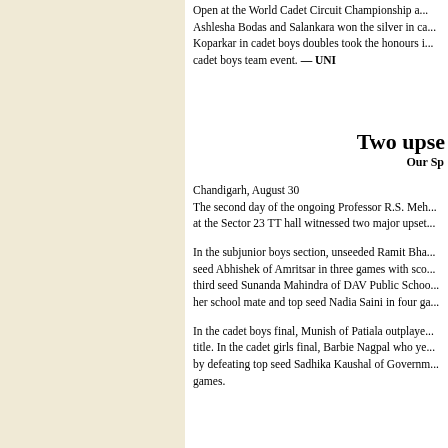Ashlesha Bodas and Salankara won the silver in ca... Koparkar in cadet boys doubles took the honours i... cadet boys team event. — UNI
Two ups...
Our Sp...
Chandigarh, August 30
The second day of the ongoing Professor R.S. Meh... at the Sector 23 TT hall witnessed two major upset...
In the subjunior boys section, unseeded Ramit Bha... seed Abhishek of Amritsar in three games with sco... third seed Sunanda Mahindra of DAV Public Schoo... her school mate and top seed Nadia Saini in four ga...
In the cadet boys final, Munish of Patiala outplaye... title. In the cadet girls final, Barbie Nagpal who ye... by defeating top seed Sadhika Kaushal of Governm... games.